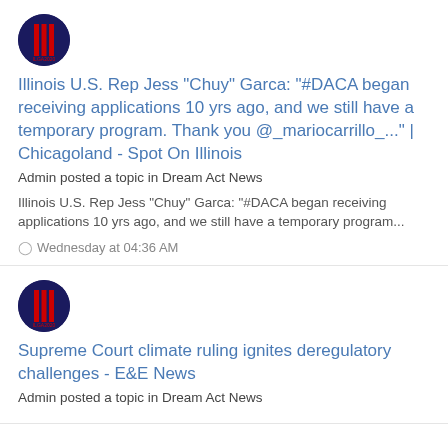[Figure (logo): Circular logo with dark navy background and red vertical stripes, resembling a forum/organization avatar]
Illinois U.S. Rep Jess "Chuy" Garca: "#DACA began receiving applications 10 yrs ago, and we still have a temporary program. Thank you @_mariocarrillo_..." | Chicagoland - Spot On Illinois
Admin posted a topic in Dream Act News
Illinois U.S. Rep Jess "Chuy" Garca: "#DACA began receiving applications 10 yrs ago, and we still have a temporary program...
Wednesday at 04:36 AM
[Figure (logo): Circular logo with dark navy background and red vertical stripes, resembling a forum/organization avatar]
Supreme Court climate ruling ignites deregulatory challenges - E&E News
Admin posted a topic in Dream Act News